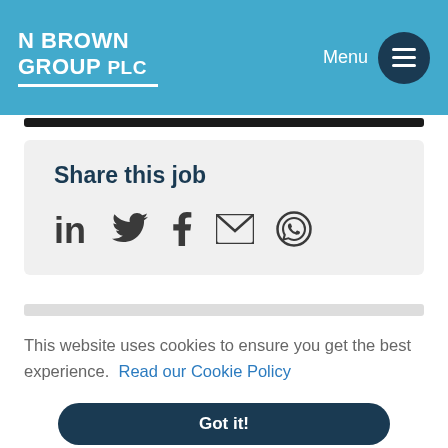N BROWN GROUP PLC   Menu
Share this job
[Figure (other): Social share icons: LinkedIn, Twitter, Facebook, Email, WhatsApp]
This website uses cookies to ensure you get the best experience. Read our Cookie Policy
Got it!